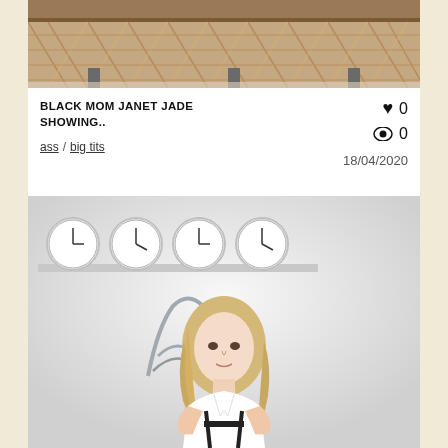[Figure (photo): Top portion of a wicker/rattan furniture piece, cropped image at the top of the card]
BLACK MOM JANET JADE SHOWING..
ass / big tits
♥ 0  👁 0  18/04/2020
[Figure (photo): Young blonde woman in white shirt with black suspenders, standing in front of decorative silver chair, with clocks on wall in background]